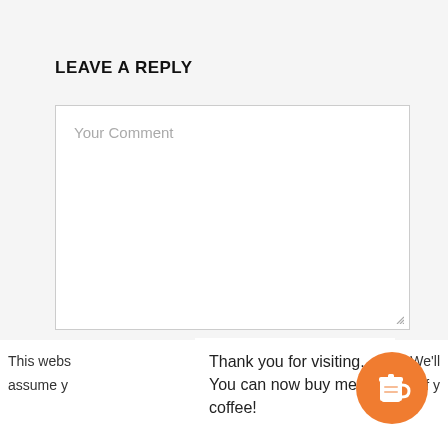LEAVE A REPLY
[Figure (screenshot): A comment textarea input box with placeholder text 'Your Comment' and a resize handle at bottom-right]
This webs
assume y
Thank you for visiting. You can now buy me a coffee!
rience. We'll
if y
[Figure (illustration): Orange circular button with a coffee cup icon]